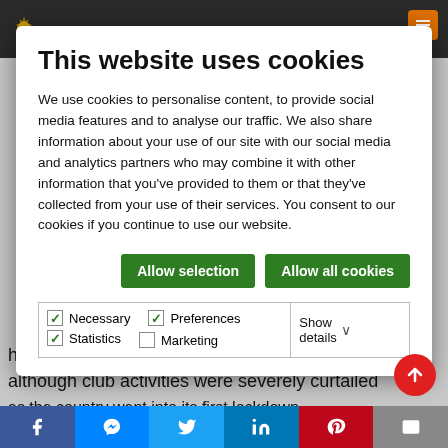[Figure (screenshot): Dark navigation bar with gear/settings icon and orange icon at top right]
This website uses cookies
We use cookies to personalise content, to provide social media features and to analyse our traffic. We also share information about your use of our site with our social media and analytics partners who may combine it with other information that you've provided to them or that they've collected from your use of their services. You consent to our cookies if you continue to use our website.
Allow selection | Allow all cookies
| Necessary | Preferences | Statistics | Marketing | Show details |
| --- | --- | --- | --- | --- |
| ✓ Necessary | ✓ Preferences | ✓ Statistics | Show details ∨ |
| ☐ Marketing |  |  |  |
had a very successful presidency 2019-202… although club activities were severely curtailed as the country went into its first lockdown…
[Figure (screenshot): Social sharing bar with Facebook, Messenger, Twitter, LinkedIn, Pinterest, Email buttons]